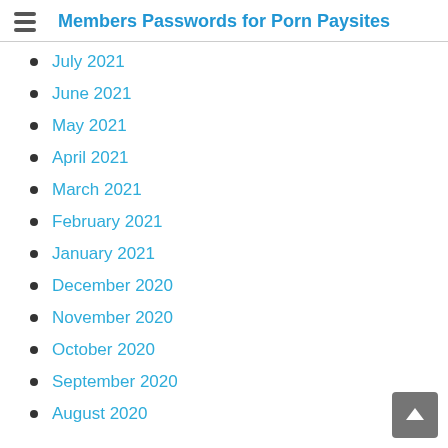Members Passwords for Porn Paysites
July 2021
June 2021
May 2021
April 2021
March 2021
February 2021
January 2021
December 2020
November 2020
October 2020
September 2020
August 2020